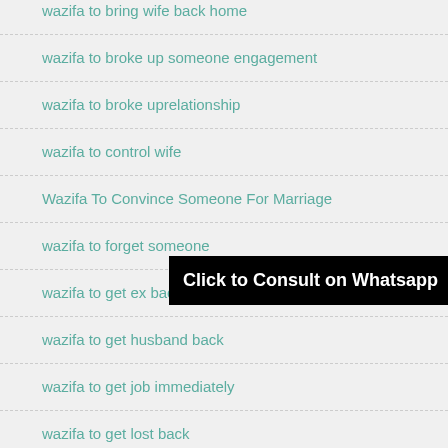wazifa to bring wife back home
wazifa to broke up someone engagement
wazifa to broke uprelationship
wazifa to control wife
Wazifa To Convince Someone For Marriage
wazifa to forget someone
wazifa to get ex back
wazifa to get husband back
wazifa to get job immediately
wazifa to get lost back
Click to Consult on Whatsapp